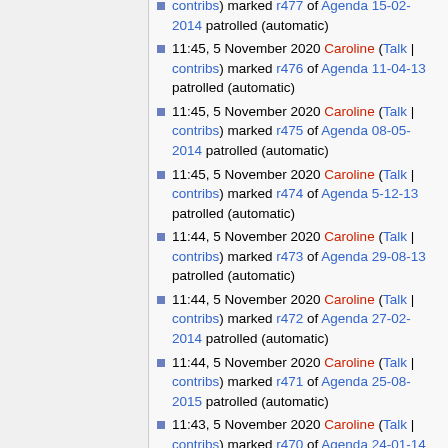contribs) marked r477 of Agenda 15-02-2014 patrolled (automatic)
11:45, 5 November 2020 Caroline (Talk | contribs) marked r476 of Agenda 11-04-13 patrolled (automatic)
11:45, 5 November 2020 Caroline (Talk | contribs) marked r475 of Agenda 08-05-2014 patrolled (automatic)
11:45, 5 November 2020 Caroline (Talk | contribs) marked r474 of Agenda 5-12-13 patrolled (automatic)
11:44, 5 November 2020 Caroline (Talk | contribs) marked r473 of Agenda 29-08-13 patrolled (automatic)
11:44, 5 November 2020 Caroline (Talk | contribs) marked r472 of Agenda 27-02-2014 patrolled (automatic)
11:44, 5 November 2020 Caroline (Talk | contribs) marked r471 of Agenda 25-08-2015 patrolled (automatic)
11:43, 5 November 2020 Caroline (Talk | contribs) marked r470 of Agenda 24-01-14 patrolled (automatic)
11:43, 5 November 2020 Caroline (Talk |